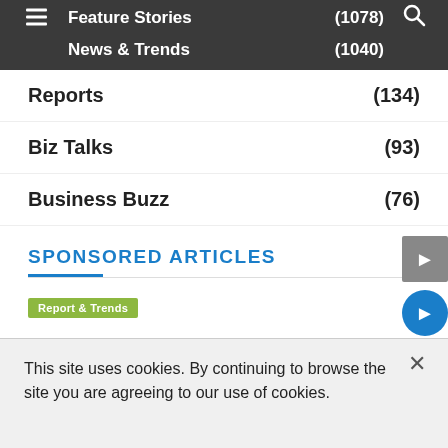Feature Stories (1078)
News & Trends (1040)
Reports (134)
Biz Talks (93)
Business Buzz (76)
SPONSORED ARTICLES
Report & Trends
This site uses cookies. By continuing to browse the site you are agreeing to our use of cookies.